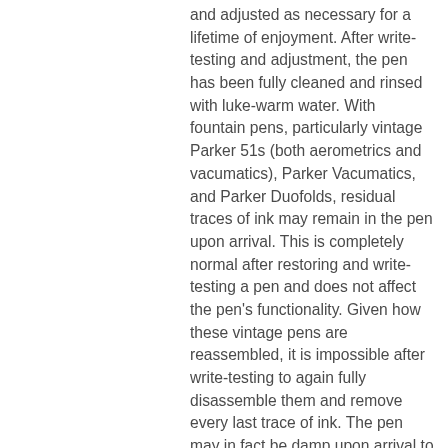and adjusted as necessary for a lifetime of enjoyment. After write-testing and adjustment, the pen has been fully cleaned and rinsed with luke-warm water. With fountain pens, particularly vintage Parker 51s (both aerometrics and vacumatics), Parker Vacumatics, and Parker Duofolds, residual traces of ink may remain in the pen upon arrival. This is completely normal after restoring and write-testing a pen and does not affect the pen's functionality. Given how these vintage pens are reassembled, it is impossible after write-testing to again fully disassemble them and remove every last trace of ink. The pen may in fact be damp upon arrival to you. Just rest assured and be comfortable that this is a natural side effect of write-testing and adjusting a vintage fountain pen after a complete restoration and service.

The pen will be packed inside a crush-proof PVC tube (or its own case when present) and shipped in a fully-padded